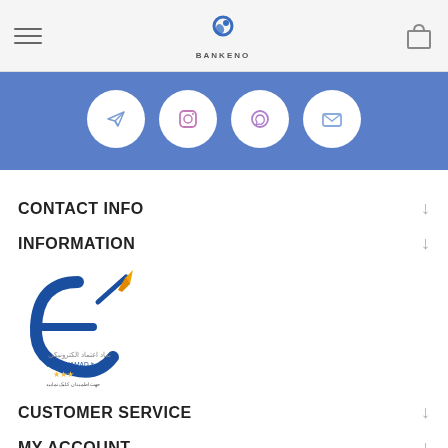BANKENO
[Figure (infographic): Social media icons strip on blue background: Telegram, Instagram, WhatsApp, Email]
CONTACT INFO
INFORMATION
[Figure (logo): eNAMAD electronic trust logo with Persian text and www.eNAMAD.ir]
CUSTOMER SERVICE
MY ACCOUNT